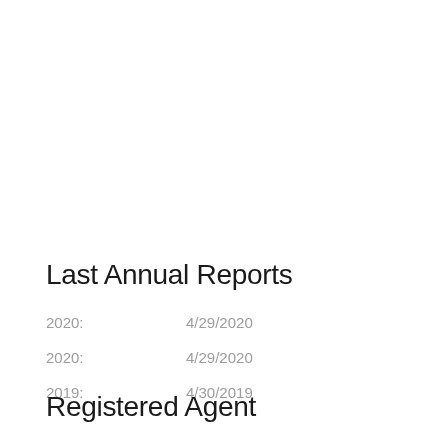Last Annual Reports
2020:   4/29/2020
2020:   4/29/2020
2019:   4/30/2019
Registered Agent